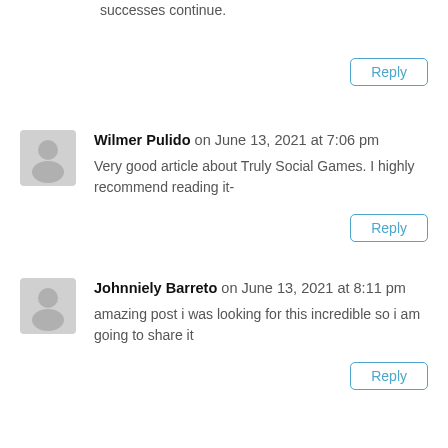successes continue.
Reply
Wilmer Pulido on June 13, 2021 at 7:06 pm
Very good article about Truly Social Games. I highly recommend reading it-
Reply
Johnniely Barreto on June 13, 2021 at 8:11 pm
amazing post i was looking for this incredible so i am going to share it
Reply